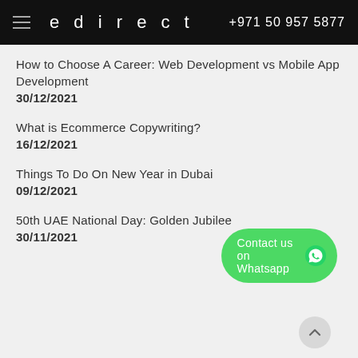edirect  +971 50 957 5877
How to Choose A Career: Web Development vs Mobile App Development
30/12/2021
What is Ecommerce Copywriting?
16/12/2021
Things To Do On New Year in Dubai
09/12/2021
50th UAE National Day: Golden Jubilee
30/11/2021
Contact us on Whatsapp